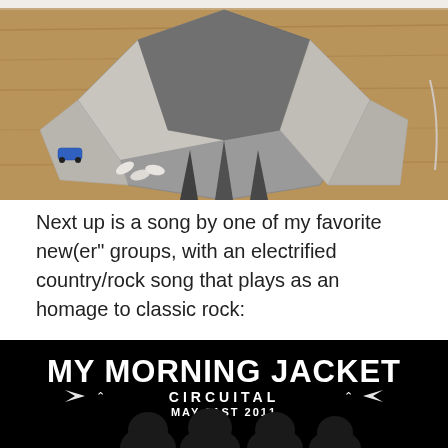[Figure (photo): Overhead photo of fabric pieces laid out on a wooden surface, resembling a deconstructed garment or sewing project. A small blue toy car and white feather-like objects are visible on the floor.]
Next up is a song by one of my favorite new(er" groups, with an electrified country/rock song that plays as an homage to classic rock:
[Figure (illustration): Album promotional image for My Morning Jacket - Circuital, May 31st 2011. Black background with white bold text showing band name and album details, with silhouettes of band members at the bottom.]